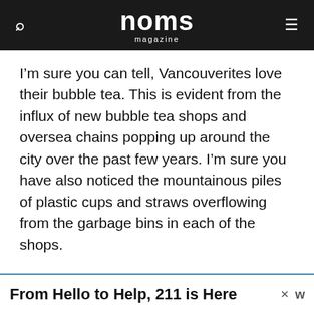noms magazine
I’m sure you can tell, Vancouverites love their bubble tea. This is evident from the influx of new bubble tea shops and oversea chains popping up around the city over the past few years. I’m sure you have also noticed the mountainous piles of plastic cups and straws overflowing from the garbage bins in each of the shops.
With the consumption and interest of bubble tea rising in Vancouver, the push by our
[Figure (other): Advertisement banner: From Hello to Help, 211 is Here with a close button and a logo on the right]